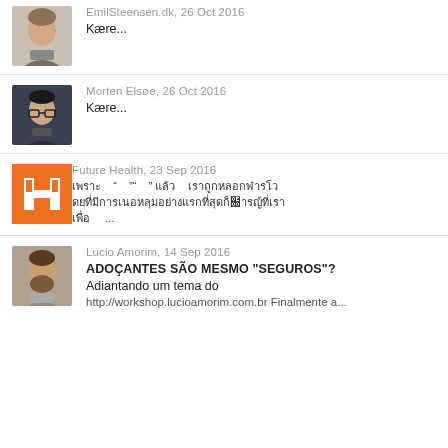[Figure (photo): Avatar photo of Emil Steensen, young man with light hair]
EmilSteensen.dk, 26 Oct 2016
Kære...
[Figure (photo): Avatar photo of Morten Elsøe, man with glasses]
Morten Elsøe, 26 Oct 2016
Kære...
[Figure (logo): Future Health logo — orange square with white H shape]
Future Health, 23 Sep 2016
[Thai/CJK text with quotation marks and ellipsis] ...
[Figure (photo): Avatar photo of Lucio Amorim, bearded man]
Lucio Amorim, 14 Sep 2016
ADOÇANTES SÃO MESMO "SEGUROS"?
Adiantando um tema do
http://workshop.lucioamorim.com.br Finalmente a...